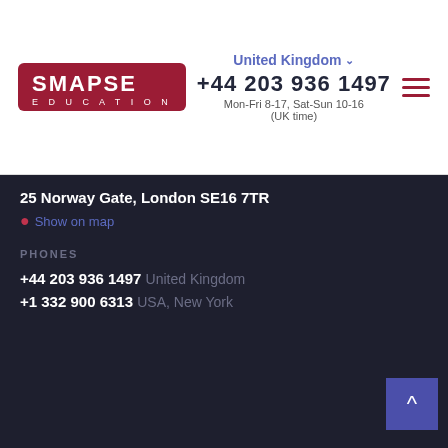[Figure (logo): Smapse Education logo — dark red rounded rectangle with white text SMAPSE and EDUCATION below]
United Kingdom ∨
+44 203 936 1497
Mon-Fri 8-17, Sat-Sun 10-16
(UK time)
25 Norway Gate, London SE16 7TR
Show on map
PHONES
+44 203 936 1497 United Kingdom
+1 332 900 6313 USA, New York
[Figure (illustration): WhatsApp green circle icon with phone handset]
WORKING HOURS
Monday-Friday 8:00 - 17:00
Saturday-Sunday 10:00 - 16:00
(UK time)
[Figure (illustration): Green chat bubble icon]